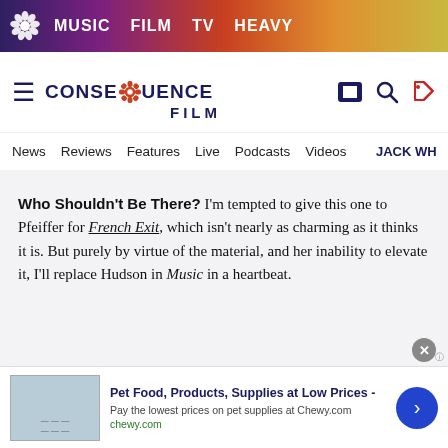MUSIC  FILM  TV  HEAVY
[Figure (logo): Consequence Film logo with hamburger menu, gear/flower icon, search, and tag icons]
News  Reviews  Features  Live  Podcasts  Videos  JACK WH
Who Shouldn't Be There? I'm tempted to give this one to Pfeiffer for French Exit, which isn't nearly as charming as it thinks it is. But purely by virtue of the material, and her inability to elevate it, I'll replace Hudson in Music in a heartbeat.
Who's Missing? I'm rather partial to Kathryn
[Figure (screenshot): Advertisement banner: Pet Food, Products, Supplies at Low Prices - Chewy.com]